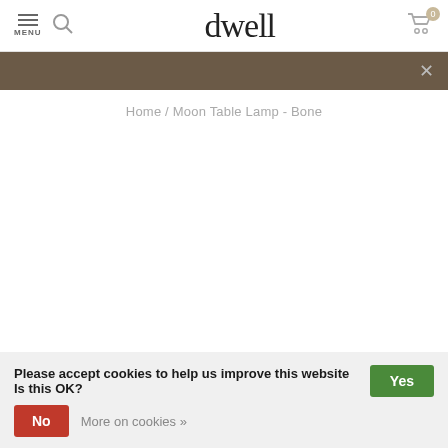dwell — MENU, search, cart (0)
Home / Moon Table Lamp - Bone
Please accept cookies to help us improve this website Is this OK? Yes | No | More on cookies »